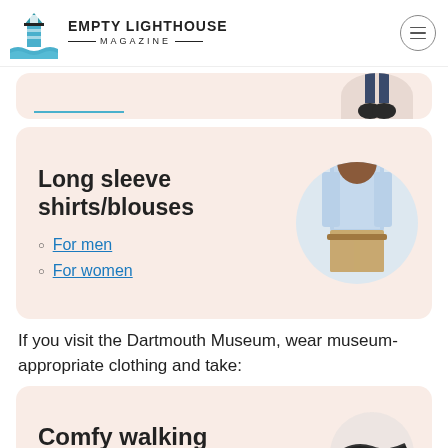EMPTY LIGHTHOUSE MAGAZINE
[Figure (screenshot): Partial card with person's legs visible (cropped, top of page)]
Long sleeve shirts/blouses
For men
For women
If you visit the Dartmouth Museum, wear museum-appropriate clothing and take:
Comfy walking